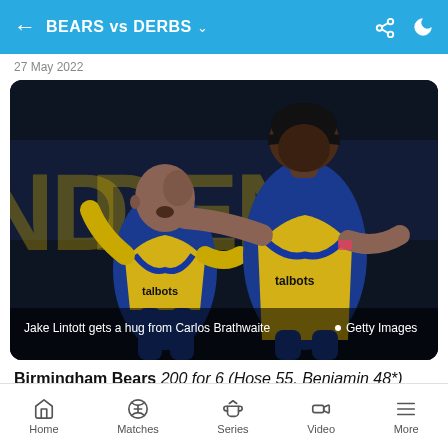BEARS vs DERBS
27 May 2022
[Figure (photo): Two cricket players in blue and yellow talbots-sponsored Birmingham Bears kit celebrating. One bald player (Jake Lintott) gets a hug from a taller player (Carlos Brathwaite) wearing a cap.]
Jake Lintott gets a hug from Carlos Brathwaite • Getty Images
Birmingham Bears 200 for 6 (Hose 55, Benjamin 48*)
Home  Matches  Series  Video  More